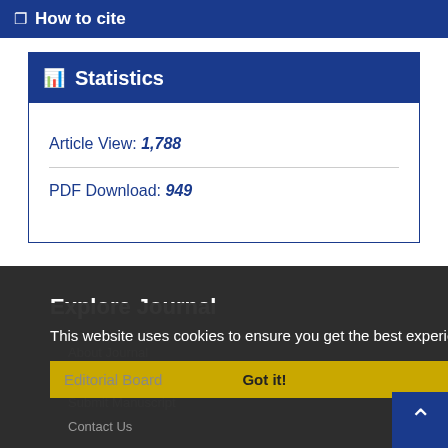How to cite
Statistics
Article View: 1,788
PDF Download: 949
Explore Journal
This website uses cookies to ensure you get the best experience on our website.
About Journal
Editorial Board    Got it!
Submit Manuscript
Contact Us